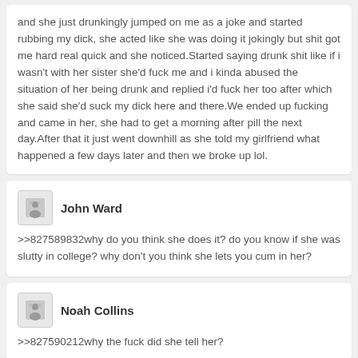and she just drunkingly jumped on me as a joke and started rubbing my dick, she acted like she was doing it jokingly but shit got me hard real quick and she noticed.Started saying drunk shit like if i wasn't with her sister she'd fuck me and i kinda abused the situation of her being drunk and replied i'd fuck her too after which she said she'd suck my dick here and there.We ended up fucking and came in her, she had to get a morning after pill the next day.After that it just went downhill as she told my girlfriend what happened a few days later and then we broke up lol.
John Ward
>>827589832why do you think she does it? do you know if she was slutty in college? why don't you think she lets you cum in her?
Noah Collins
>>827590212why the fuck did she tell her?